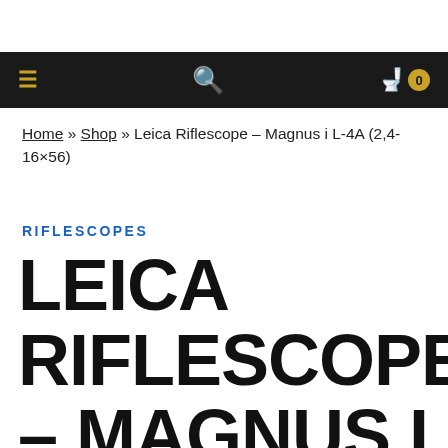Navigation bar with menu, search, and cart icons
Home » Shop » Leica Riflescope – Magnus i L-4A (2,4-16×56)
RIFLESCOPES
LEICA RIFLESCOPE – MAGNUS I L-4A (2,4-16×56)